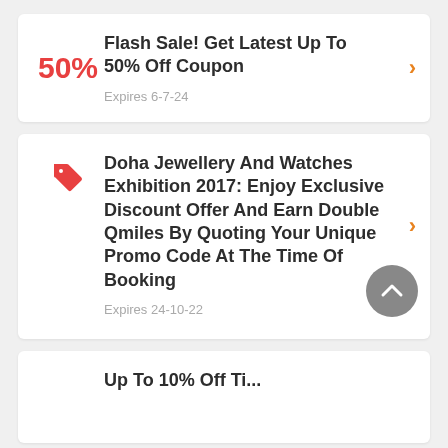Flash Sale! Get Latest Up To 50% Off Coupon — Expires 6-7-24
Doha Jewellery And Watches Exhibition 2017: Enjoy Exclusive Discount Offer And Earn Double Qmiles By Quoting Your Unique Promo Code At The Time Of Booking — Expires 24-10-22
Up To 10% Off Ti...